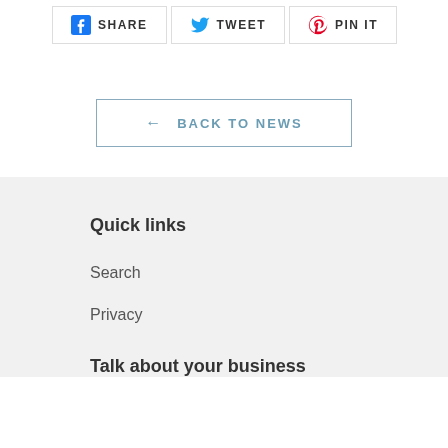SHARE   TWEET   PIN IT
← BACK TO NEWS
Quick links
Search
Privacy
Talk about your business